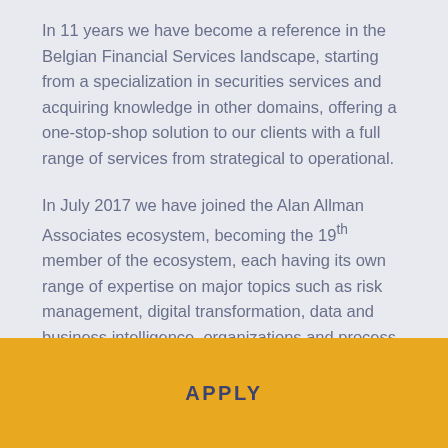In 11 years we have become a reference in the Belgian Financial Services landscape, starting from a specialization in securities services and acquiring knowledge in other domains, offering a one-stop-shop solution to our clients with a full range of services from strategical to operational.
In July 2017 we have joined the Alan Allman Associates ecosystem, becoming the 19th member of the ecosystem, each having its own range of expertise on major topics such as risk management, digital transformation, data and business intelligence, organizations and process management, change management, architecture and infrastructure ...
APPLY